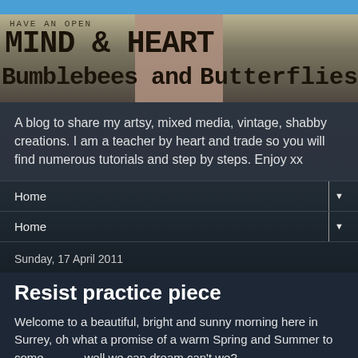[Figure (illustration): Blog banner with text 'HAVE AN OPEN MIND & HEART Bumblebees and Butterflies' over a road/nature background with butterfly images]
A blog to share my artsy, mixed media, vintage, shabby creations. I am a teacher by heart and trade so you will find numerous tutorials and step by steps. Enjoy xx
Home
Home
Sunday, 17 April 2011
Resist practice piece
Welcome to a beautiful, bright and sunny morning here in Surrey, oh what a promise of a warm Spring and Summer to come   -       well we can dream can't we?